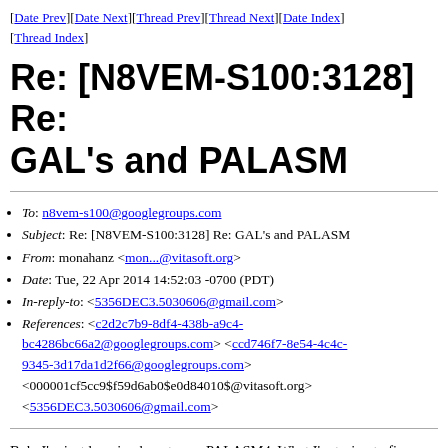[Date Prev][Date Next][Thread Prev][Thread Next][Date Index][Thread Index]
Re: [N8VEM-S100:3128] Re: GAL's and PALASM
To: n8vem-s100@googlegroups.com
Subject: Re: [N8VEM-S100:3128] Re: GAL's and PALASM
From: monahanz <mon...@vitasoft.org>
Date: Tue, 22 Apr 2014 14:52:03 -0700 (PDT)
In-reply-to: <5356DEC3.5030606@gmail.com>
References: <c2d2c7b9-8df4-438b-a9c4-bc4286bc66a2@googlegroups.com> <ccd746f7-8e54-4c4c-9345-3d17da1d2f66@googlegroups.com> <000001cf5cc9$f59d6ab0$e0d84010$@vitasoft.org> <5356DEC3.5030606@gmail.com>
Bob, I'm just learning how to use PALASM4.  What I'm trying to figure out is how to emulate in software the circuit attached here:-